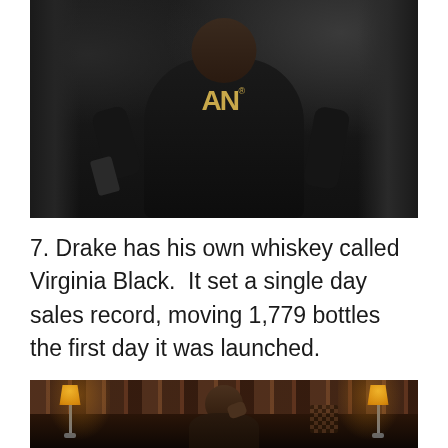[Figure (photo): Person wearing black hoodie with logo, standing, holding a phone/device, photographed indoors against a dark background]
7. Drake has his own whiskey called Virginia Black.  It set a single day sales record, moving 1,779 bottles the first day it was launched.
[Figure (photo): Person sitting in a library-style room with bookshelves, lamps on either side, holding something near their face, warm dark atmosphere]